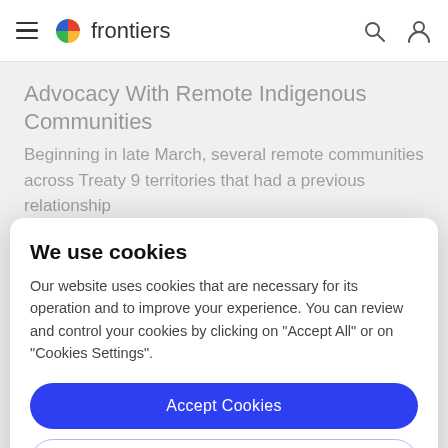frontiers
Advocacy With Remote Indigenous Communities
Beginning in late March, several remote communities across Treaty 9 territories that had a previous relationship
We use cookies
Our website uses cookies that are necessary for its operation and to improve your experience. You can review and control your cookies by clicking on "Accept All" or on "Cookies Settings".
Accept Cookies
Cookies Settings